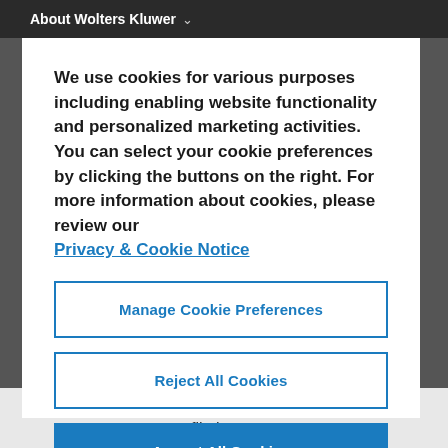About Wolters Kluwer
We use cookies for various purposes including enabling website functionality and personalized marketing activities. You can select your cookie preferences by clicking the buttons on the right. For more information about cookies, please review our Privacy & Cookie Notice
Manage Cookie Preferences
Reject All Cookies
Accept All Cookies
profile in stress.